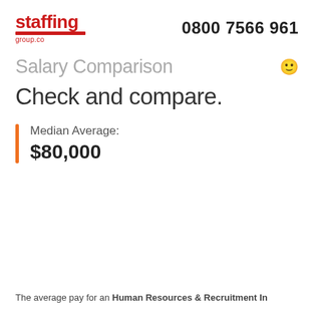staffing group.co | 0800 7566 961
Salary Comparison
Check and compare.
Median Average: $80,000
The average pay for an Human Resources & Recruitment In